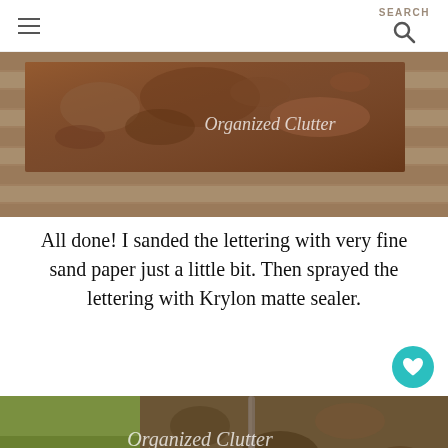SEARCH
[Figure (photo): Close-up of a rusty metal object with 'Organized Clutter' watermark text, resting on wooden planks]
All done!  I sanded the lettering with very fine sand paper just a little bit.  Then sprayed the lettering with Krylon matte sealer.
[Figure (photo): Photo of a tree trunk with 'Organized Clutter' watermark text, with a metal pipe leaning against the tree and grass visible in background. 'WHAT'S NEXT' overlay with 'Outdoor Vintage Jun...' thumbnail]